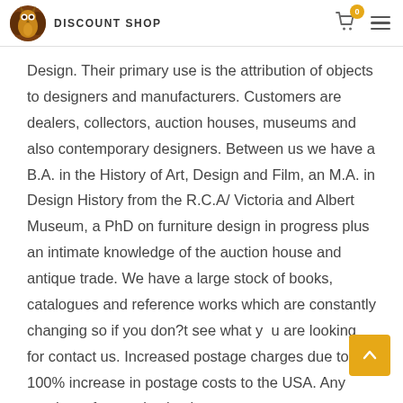DISCOUNT SHOP
Design. Their primary use is the attribution of objects to designers and manufacturers. Customers are dealers, collectors, auction houses, museums and also contemporary designers. Between us we have a B.A. in the History of Art, Design and Film, an M.A. in Design History from the R.C.A/ Victoria and Albert Museum, a PhD on furniture design in progress plus an intimate knowledge of the auction house and antique trade. We have a large stock of books, catalogues and reference works which are constantly changing so if you don?t see what you are looking for contact us. Increased postage charges due to a 100% increase in postage costs to the USA. Any purchase from a destination